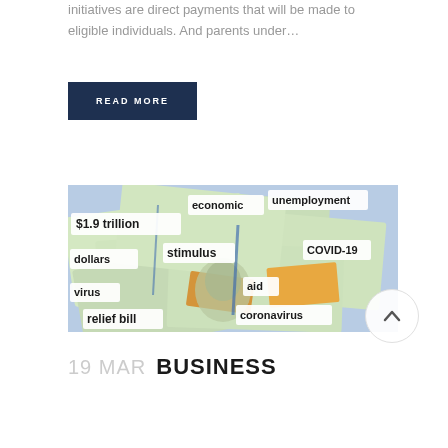initiatives are direct payments that will be made to eligible individuals. And parents under…
READ MORE
[Figure (photo): Photo of US $100 bills with paper labels reading: $1.9 trillion, economic, unemployment, dollars, stimulus, COVID-19, virus, aid, coronavirus, relief bill]
19 MAR BUSINESS